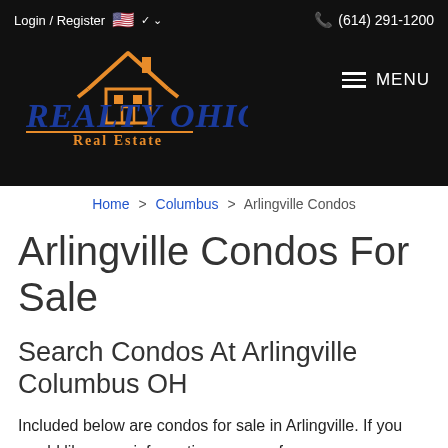Login / Register  (614) 291-1200
[Figure (logo): Realty Ohio Real Estate logo with orange house icon and blue text]
Home > Columbus > Arlingville Condos
Arlingville Condos For Sale
Search Condos At Arlingville Columbus OH
Included below are condos for sale in Arlingville. If you would like more information on any of